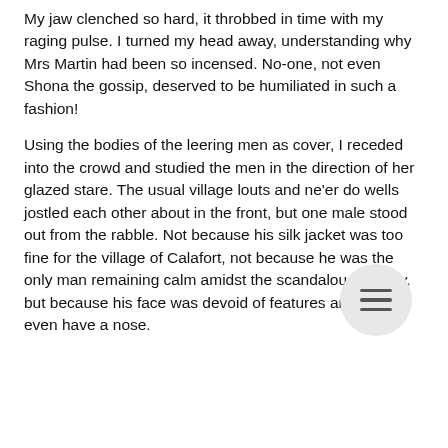My jaw clenched so hard, it throbbed in time with my raging pulse. I turned my head away, understanding why Mrs Martin had been so incensed. No-one, not even Shona the gossip, deserved to be humiliated in such a fashion!
Using the bodies of the leering men as cover, I receded into the crowd and studied the men in the direction of her glazed stare. The usual village louts and ne'er do wells jostled each other about in the front, but one male stood out from the rabble. Not because his silk jacket was too fine for the village of Calafort, not because he was the only man remaining calm amidst the scandalous display, but because his face was devoid of features and did not even have a nose.
[Figure (other): A circular hamburger menu button (three horizontal lines icon) on a light grey circle background, positioned in the lower right area of the page.]